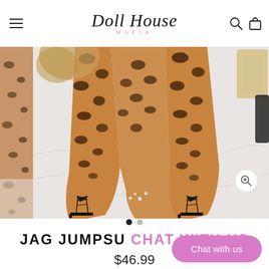[Figure (logo): Doll House Mafia brand logo in cursive script with 'MAFIA' in pink spaced letters below]
[Figure (photo): Product photo of a woman wearing a leopard print jumpsuit with black lace-up heeled sandals on a marble floor, with a left thumbnail strip showing partial image]
• •  (carousel dots, first filled)
JAG JUMPSU...
$46.99
Chat with us